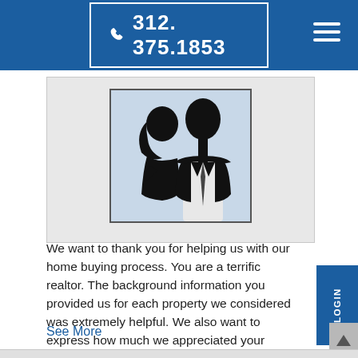312. 375.1853
[Figure (illustration): Silhouette illustration of a couple (man and woman) against a light blue background, shown from the shoulders up. Both figures are filled in black/dark, with the man wearing a tie.]
We want to thank you for helping us with our home buying process. You are a terrific realtor. The background information you provided us for each property we considered was extremely helpful. We also want to express how much we appreciated your patience with us
See More